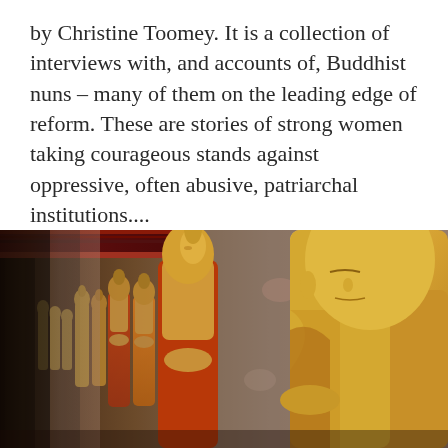by Christine Toomey. It is a collection of interviews with, and accounts of, Buddhist nuns – many of them on the leading edge of reform. These are stories of strong women taking courageous stands against oppressive, often abusive, patriarchal institutions....
[Figure (photo): A row of golden Buddha statues seated in meditation, draped in orange and saffron robes, set against a decorative painted wall in what appears to be a Thai Buddhist temple. The statues recede into the background from right to left, with the largest and most detailed in the foreground on the right.]